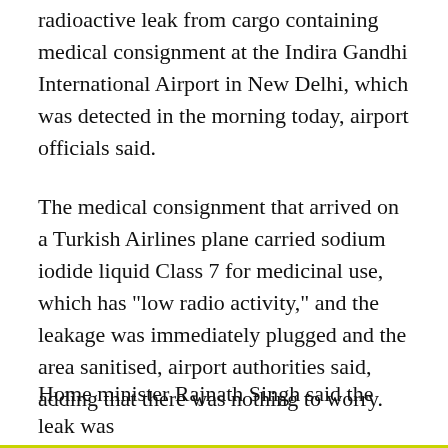radioactive leak from cargo containing medical consignment at the Indira Gandhi International Airport in New Delhi, which was detected in the morning today, airport officials said.
The medical consignment that arrived on a Turkish Airlines plane carried sodium iodide liquid Class 7 for medicinal use, which has "low radio activity," and the leakage was immediately plugged and the area sanitised, airport authorities said, adding that there was nothing to worry.
The leak was detected in the cargo area of the IGI Airport this morning after two workers who handled the consignment complained of irritation in the eyes. They were taken to Delhi's AIIMS hospital for a preliminary check and are back at work.
Home minister Rajnath Singh said the leak was